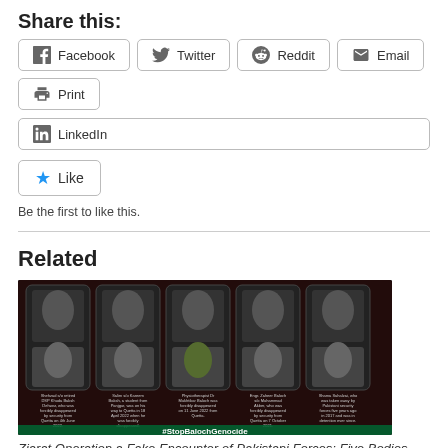Share this:
Facebook
Twitter
Reddit
Email
Print
LinkedIn
Be the first to like this.
Related
[Figure (photo): Group of five individuals with descriptive text about forced disappearances in Quetta, with hashtag #StopBalochGenocide at bottom]
Ziarat Operation a Fake Encounter of Pakistani Forces: Five Bodies